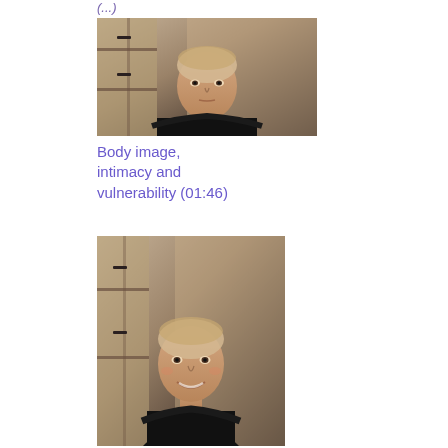(...)
[Figure (photo): Woman with very short hair wearing a black top, seated in front of a wooden cabinet background, looking directly at camera with a serious expression]
Body image, intimacy and vulnerability (01:46)
[Figure (photo): Same woman with very short hair wearing a black top, smiling, seated in front of a wooden cabinet background]